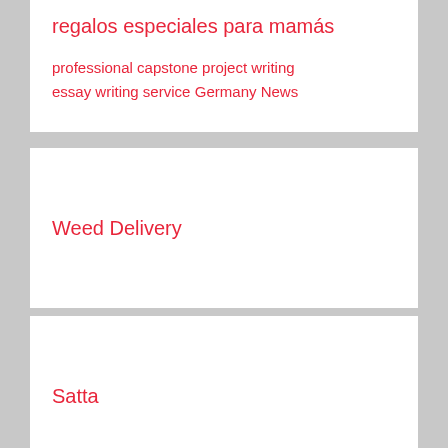regalos especiales para mamás
professional capstone project writing
essay writing service
Germany News
Weed Delivery
Satta